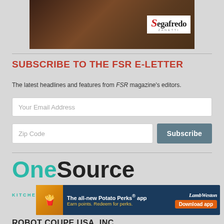[Figure (photo): Segafredo Zanetti branded iced coffee cup with Segafredo Zanetti logo on white background in the upper right]
SUBSCRIBE TO THE FSR E-LETTER
The latest headlines and features from FSR magazine's editors.
[Figure (screenshot): Email address input field placeholder text 'Your Email Address']
[Figure (screenshot): Zip Code input field with Subscribe button]
[Figure (logo): OneSource logo with teal 'One' and black 'Source' in large bold text]
[Figure (photo): LambWeston Potato Perks app advertisement banner - dark blue background with orange left panel, text 'The all-new Potato Perks app', 'Earn points. Redeem for perks.', Download app button]
KITCHEN
ROBOT COUPE USA, INC